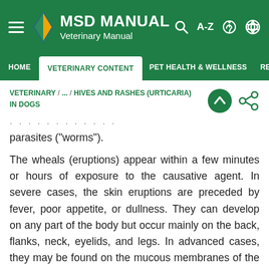MSD MANUAL Veterinary Manual
HOME / VETERINARY CONTENT / PET HEALTH & WELLNESS / RESO...
VETERINARY / ... / HIVES AND RASHES (URTICARIA) IN DOGS
parasites ("worms").
The wheals (eruptions) appear within a few minutes or hours of exposure to the causative agent. In severe cases, the skin eruptions are preceded by fever, poor appetite, or dullness. They can develop on any part of the body but occur mainly on the back, flanks, neck, eyelids, and legs. In advanced cases, they may be found on the mucous membranes of the mouth, nose, lining of the eyes, rectum, and vagina.
Often, hives disappear as rapidly as they arise, usually within a few hours. Treatment can be administered. The...